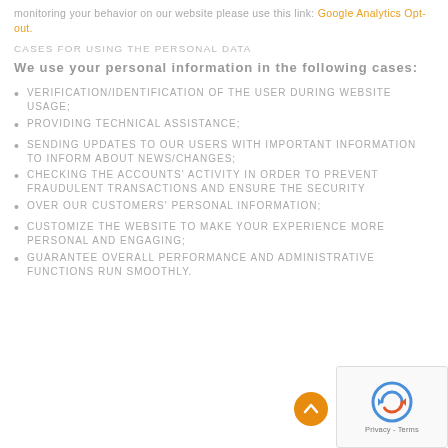monitoring your behavior on our website please use this link: Google Analytics Opt-out.
CASES FOR USING THE PERSONAL DATA
We use your personal information in the following cases:
VERIFICATION/IDENTIFICATION OF THE USER DURING WEBSITE USAGE;
PROVIDING TECHNICAL ASSISTANCE;
SENDING UPDATES TO OUR USERS WITH IMPORTANT INFORMATION TO INFORM ABOUT NEWS/CHANGES;
CHECKING THE ACCOUNTS' ACTIVITY IN ORDER TO PREVENT FRAUDULENT TRANSACTIONS AND ENSURE THE SECURITY
OVER OUR CUSTOMERS' PERSONAL INFORMATION;
CUSTOMIZE THE WEBSITE TO MAKE YOUR EXPERIENCE MORE PERSONAL AND ENGAGING;
GUARANTEE OVERALL PERFORMANCE AND ADMINISTRATIVE FUNCTIONS RUN SMOOTHLY.
[Figure (other): reCAPTCHA widget and scroll-to-top button]